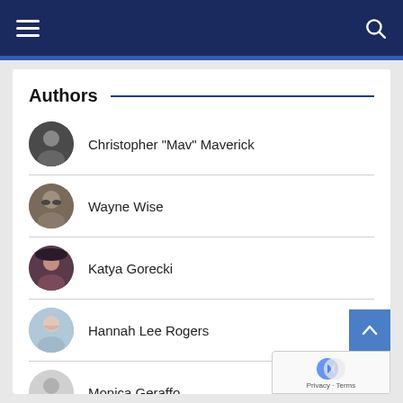Navigation bar with hamburger menu and search icon
Authors
Christopher "Mav" Maverick
Wayne Wise
Katya Gorecki
Hannah Lee Rogers
Monica Geraffo
Stephanie Siler